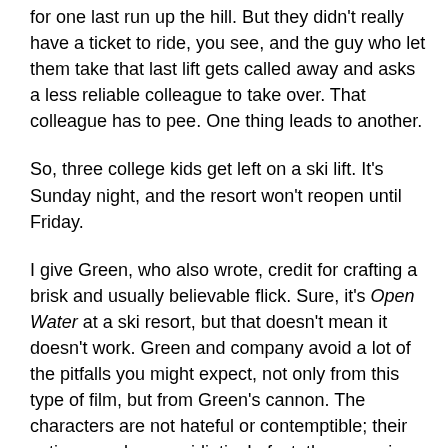for one last run up the hill. But they didn't really have a ticket to ride, you see, and the guy who let them take that last lift gets called away and asks a less reliable colleague to take over. That colleague has to pee. One thing leads to another.
So, three college kids get left on a ski lift. It's Sunday night, and the resort won't reopen until Friday.
I give Green, who also wrote, credit for crafting a brisk and usually believable flick. Sure, it's Open Water at a ski resort, but that doesn't mean it doesn't work. Green and company avoid a lot of the pitfalls you might expect, not only from this type of film, but from Green's cannon. The characters are not hateful or contemptible; their actions rarely seem idiotic. In fact, they cave in and try something dangerous at just about the point you're thinking to yourself: “Hey, why don't they try shimmying across those cables?”
The most effective scene, in fact, comes just after Joe (Shawn